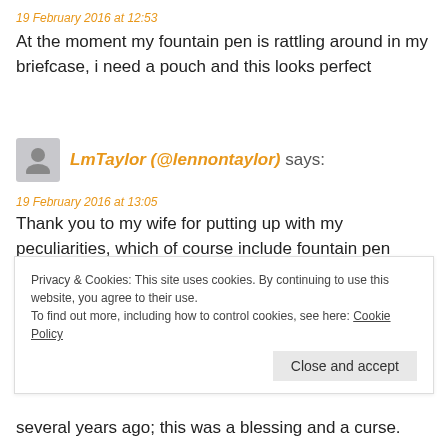19 February 2016 at 12:53
At the moment my fountain pen is rattling around in my briefcase, i need a pouch and this looks perfect
LmTaylor (@lennontaylor) says:
19 February 2016 at 13:05
Thank you to my wife for putting up with my peculiarities, which of course include fountain pen obsession.
Annie Lam says:
Privacy & Cookies: This site uses cookies. By continuing to use this website, you agree to their use. To find out more, including how to control cookies, see here: Cookie Policy
Close and accept
several years ago; this was a blessing and a curse.